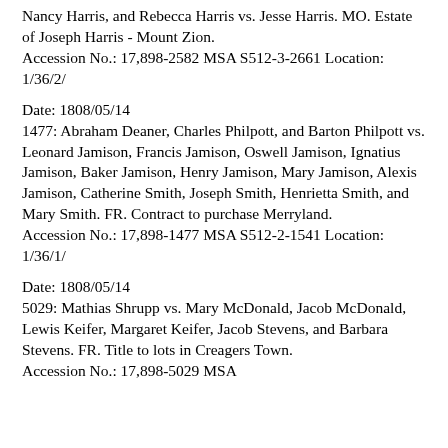Nancy Harris, and Rebecca Harris vs. Jesse Harris. MO. Estate of Joseph Harris - Mount Zion. Accession No.: 17,898-2582 MSA S512-3-2661 Location: 1/36/2/
Date: 1808/05/14
1477: Abraham Deaner, Charles Philpott, and Barton Philpott vs. Leonard Jamison, Francis Jamison, Oswell Jamison, Ignatius Jamison, Baker Jamison, Henry Jamison, Mary Jamison, Alexis Jamison, Catherine Smith, Joseph Smith, Henrietta Smith, and Mary Smith. FR. Contract to purchase Merryland. Accession No.: 17,898-1477 MSA S512-2-1541 Location: 1/36/1/
Date: 1808/05/14
5029: Mathias Shrupp vs. Mary McDonald, Jacob McDonald, Lewis Keifer, Margaret Keifer, Jacob Stevens, and Barbara Stevens. FR. Title to lots in Creagers Town. Accession No.: 17,898-5029 MSA